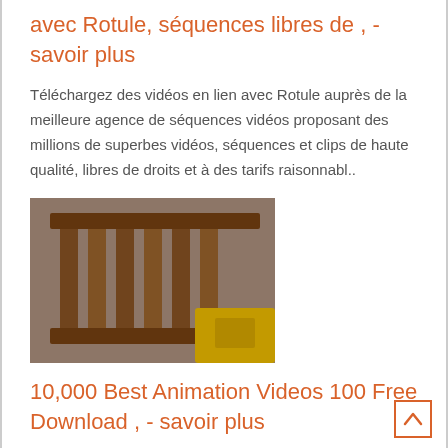avec Rotule, séquences libres de , - savoir plus
Téléchargez des vidéos en lien avec Rotule auprès de la meilleure agence de séquences vidéos proposant des millions de superbes vidéos, séquences et clips de haute qualité, libres de droits et à des tarifs raisonnabl..
[Figure (photo): A construction or industrial scene showing wooden formwork or metal grating structure, with yellow machinery visible in the background.]
10,000 Best Animation Videos 100 Free Download , - savoir plus
Download and use 10,000 animation stock